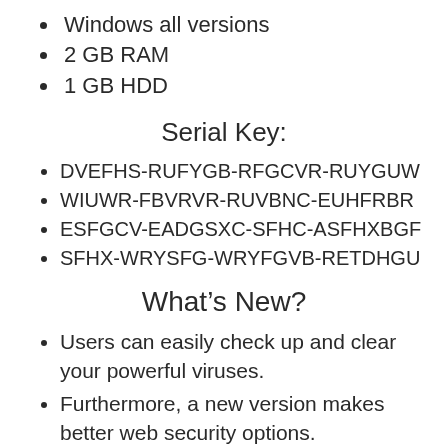Windows all versions
2 GB RAM
1 GB HDD
Serial Key:
DVEFHS-RUFYGB-RFGCVR-RUYGUW
WIUWR-FBVRVR-RUVBNC-EUHFRBR
ESFGCV-EADGSXC-SFHC-ASFHXBGF
SFHX-WRYSFG-WRYFGVB-RETDHGU
What’s New?
Users can easily check up and clear your powerful viruses.
Furthermore, a new version makes better web security options.
It allows user online protection from